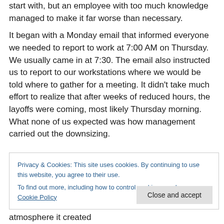start with, but an employee with too much knowledge managed to make it far worse than necessary.
It began with a Monday email that informed everyone we needed to report to work at 7:00 AM on Thursday. We usually came in at 7:30. The email also instructed us to report to our workstations where we would be told where to gather for a meeting. It didn't take much effort to realize that after weeks of reduced hours, the layoffs were coming, most likely Thursday morning. What none of us expected was how management carried out the downsizing.
Privacy & Cookies: This site uses cookies. By continuing to use this website, you agree to their use.
To find out more, including how to control cookies, see here: Cookie Policy
atmosphere it created